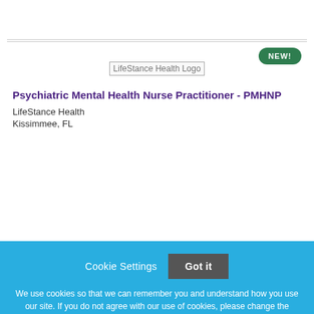[Figure (logo): NEW! badge - green oval with white text in top right corner]
[Figure (logo): LifeStance Health Logo placeholder image]
Psychiatric Mental Health Nurse Practitioner - PMHNP
LifeStance Health
Kissimmee, FL
Cookie Settings
Got it
We use cookies so that we can remember you and understand how you use our site. If you do not agree with our use of cookies, please change the current settings found in our Cookie Policy. Otherwise, you agree to the use of the cookies as they are currently set.